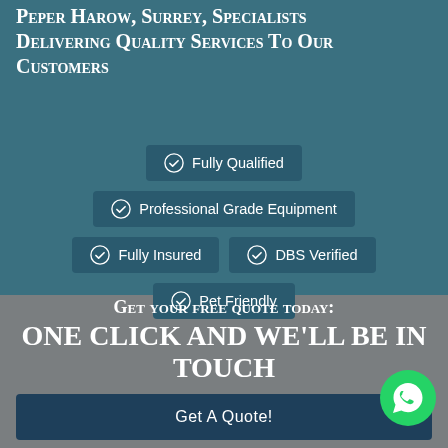Peper Harow, Surrey, Specialists Delivering Quality Services To Our Customers
Fully Qualified
Professional Grade Equipment
Fully Insured
DBS Verified
Pet Friendly
Get your free quote today:
One click and we'll be in touch
Get A Quote!